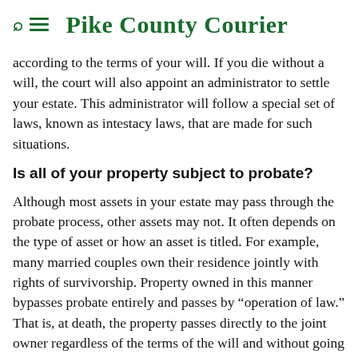Pike County Courier
according to the terms of your will. If you die without a will, the court will also appoint an administrator to settle your estate. This administrator will follow a special set of laws, known as intestacy laws, that are made for such situations.
Is all of your property subject to probate?
Although most assets in your estate may pass through the probate process, other assets may not. It often depends on the type of asset or how an asset is titled. For example, many married couples own their residence jointly with rights of survivorship. Property owned in this manner bypasses probate entirely and passes by “operation of law.” That is, at death, the property passes directly to the joint owner regardless of the terms of the will and without going through